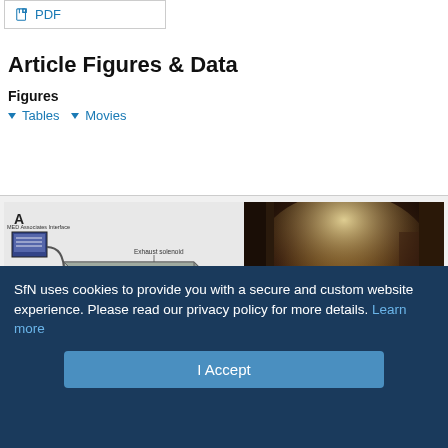PDF
Article Figures & Data
Figures
▾ Tables ▾ Movies
[Figure (illustration): Two-panel scientific figure. Panel A shows a diagram of a mouse inhalation chamber apparatus with labeled components: MED Associates Interface, Vaporizer, Exhaust solenoid, Filter, Exhaust to vacuum, Linin gauge, Room air inlet, with a mouse inside the chamber. Panel B shows a photograph of an actual experimental setup with a mouse in a dark chamber with red tubing visible.]
SfN uses cookies to provide you with a secure and custom website experience. Please read our privacy policy for more details. Learn more
I Accept